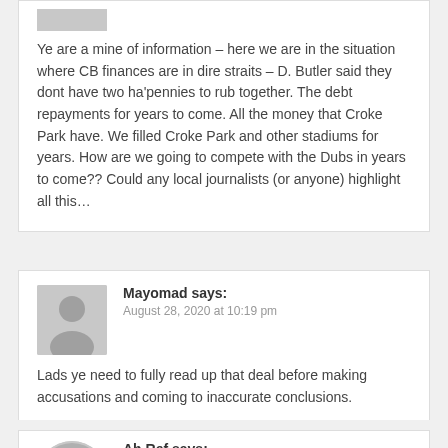Ye are a mine of information – here we are in the situation where CB finances are in dire straits – D. Butler said they dont have two ha'pennies to rub together. The debt repayments for years to come. All the money that Croke Park have. We filled Croke Park and other stadiums for years. How are we going to compete with the Dubs in years to come?? Could any local journalists (or anyone) highlight all this…
Mayomad says:
August 28, 2020 at 10:19 pm
Lads ye need to fully read up that deal before making accusations and coming to inaccurate conclusions.
Ah Ref says: